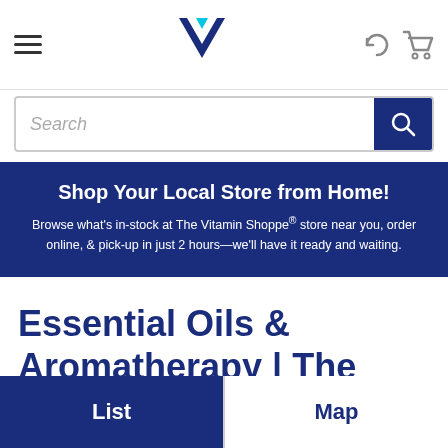Vitamin Shoppe navigation bar with hamburger menu, logo, refresh and cart icons
Search
Shop Your Local Store from Home! Browse what's in-stock at The Vitamin Shoppe® store near you, order online, & pick-up in just 2 hours—we'll have it ready and waiting.
Essential Oils & Aromatherapy | The Vitamin Shoppe® Pensacola
List  Map